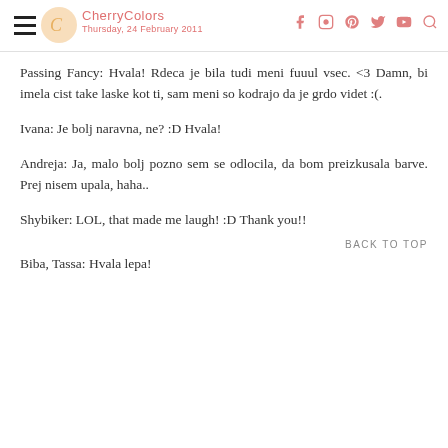CherryColors — Thursday, 24 February 2011
Passing Fancy: Hvala! Rdeca je bila tudi meni fuuul vsec. <3 Damn, bi imela cist take laske kot ti, sam meni so kodrajo da je grdo videt :(.
Ivana: Je bolj naravna, ne? :D Hvala!
Andreja: Ja, malo bolj pozno sem se odlocila, da bom preizkusala barve. Prej nisem upala, haha..
Shybiker: LOL, that made me laugh! :D Thank you!!
BACK TO TOP
Biba, Tassa: Hvala lepa!